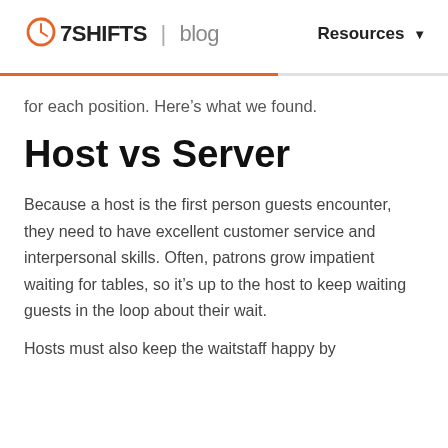7SHIFTS | blog   Resources
for each position. Here’s what we found.
Host vs Server
Because a host is the first person guests encounter, they need to have excellent customer service and interpersonal skills. Often, patrons grow impatient waiting for tables, so it’s up to the host to keep waiting guests in the loop about their wait.
Hosts must also keep the waitstaff happy by